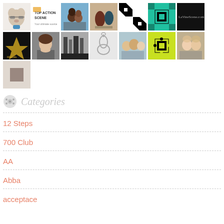[Figure (other): Grid of avatar/profile thumbnails arranged in 3 rows: row 1 has 7 images (cartoon dog, Top Action Scene logo, couple selfie, vases, black-white pattern, teal geometric pattern, LaVineScene.com logo), row 2 has 7 images (gold logo on black, young woman selfie, black-white street photo, glass figurine, family group, yellow-green puzzle pattern, two women selfie), row 3 has 1 image (gray-brown quilt pattern)]
Categories
12 Steps
700 Club
AA
Abba
acceptace